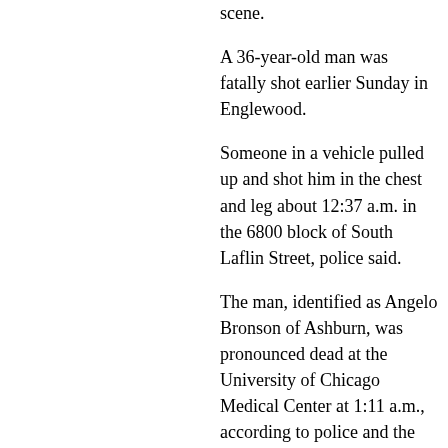scene.
A 36-year-old man was fatally shot earlier Sunday in Englewood.
Someone in a vehicle pulled up and shot him in the chest and leg about 12:37 a.m. in the 6800 block of South Laflin Street, police said.
The man, identified as Angelo Bronson of Ashburn, was pronounced dead at the University of Chicago Medical Center at 1:11 a.m., according to police and the Cook County medical examiner's office.
On Saturday night, a man was shot to death in River North amid downtown protests.
Bernardino Mercado, 26, was walking on the sidewalk with